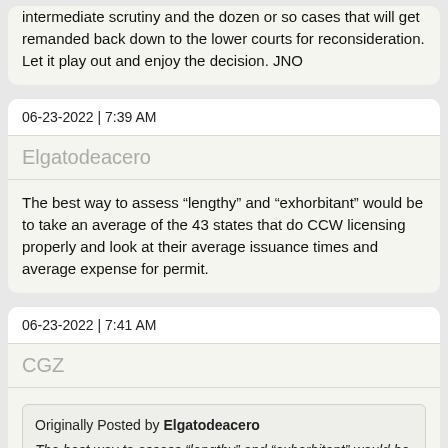intermediate scrutiny and the dozen or so cases that will get remanded back down to the lower courts for reconsideration. Let it play out and enjoy the decision. JNO
06-23-2022 | 7:39 AM
Elgatodeacero
The best way to assess “lengthy” and “exhorbitant” would be to take an average of the 43 states that do CCW licensing properly and look at their average issuance times and average expense for permit.
06-23-2022 | 7:41 AM
CGZ
Originally Posted by Elgatodeacero
The best way to assess “lengthy” and “exhorbitant” would be to take an average of the 43 states that do CCW licensing properly